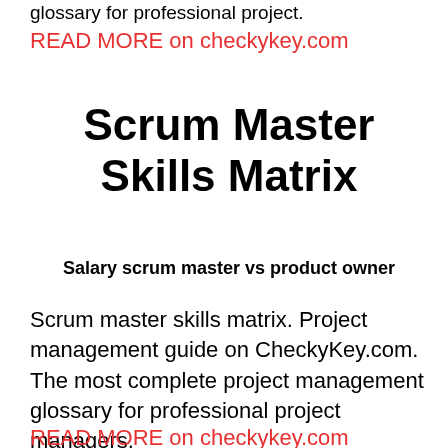glossary for professional project.
READ MORE on checkykey.com
Scrum Master Skills Matrix
Salary scrum master vs product owner
Scrum master skills matrix. Project management guide on CheckyKey.com. The most complete project management glossary for professional project managers.
READ MORE on checkykey.com